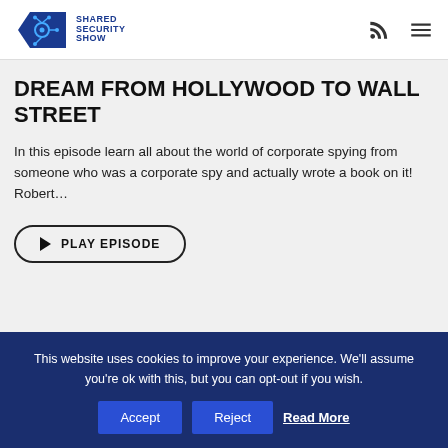Shared Security Show
DREAM FROM HOLLYWOOD TO WALL STREET
In this episode learn all about the world of corporate spying from someone who was a corporate spy and actually wrote a book on it! Robert…
PLAY EPISODE
This website uses cookies to improve your experience. We'll assume you're ok with this, but you can opt-out if you wish. Accept Reject Read More